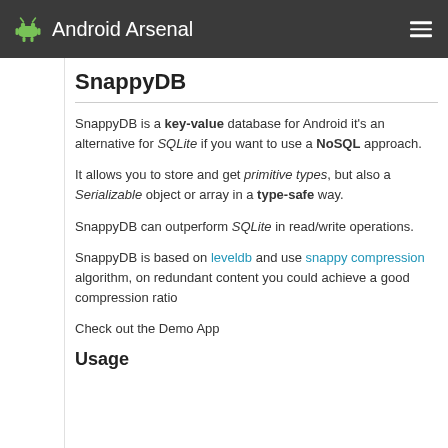Android Arsenal
SnappyDB
SnappyDB is a key-value database for Android it's an alternative for SQLite if you want to use a NoSQL approach.
It allows you to store and get primitive types, but also a Serializable object or array in a type-safe way.
SnappyDB can outperform SQLite in read/write operations.
SnappyDB is based on leveldb and use snappy compression algorithm, on redundant content you could achieve a good compression ratio
Check out the Demo App
Usage